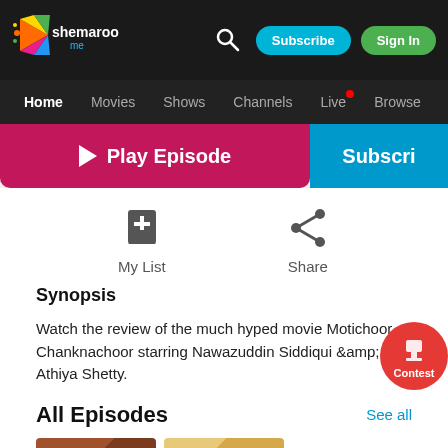Shemaroo Me — Home Movies Shows Channels Live Browse
[Figure (screenshot): Play Episode button (pink/red) and Subscribe button (blue) side by side]
[Figure (infographic): My List bookmark icon and Share icon with labels]
Synopsis
Watch the review of the much hyped movie Motichoor Chanknachoor starring Nawazuddin Siddiqui &amp; Athiya Shetty.
All Episodes
[Figure (photo): Two video episode thumbnails at bottom of page]
[Figure (logo): Contest badge — red circle with trophy icon and text Contest]